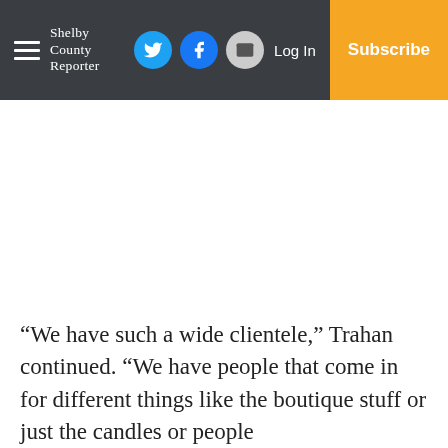Shelby County Reporter — Log In | Subscribe
“We have such a wide clientele,” Trahan continued. “We have people that come in for different things like the boutique stuff or just the candles or people